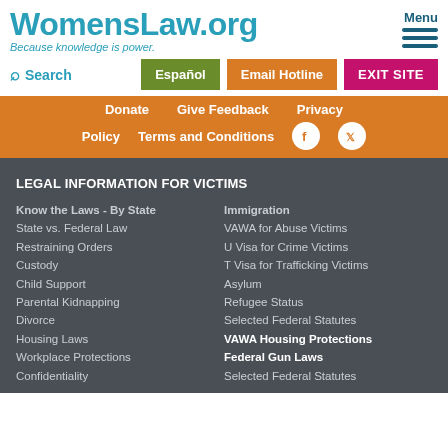WomensLaw.org — Because knowledge is power.
Search | Español | Email Hotline | EXIT SITE
Donate | Give Feedback | Privacy Policy | Terms and Conditions
LEGAL INFORMATION FOR VICTIMS
Know the Laws - By State
State vs. Federal Law
Restraining Orders
Custody
Child Support
Parental Kidnapping
Divorce
Housing Laws
Workplace Protections
Confidentiality
Immigration
VAWA for Abuse Victims
U Visa for Crime Victims
T Visa for Trafficking Victims
Asylum
Refugee Status
Selected Federal Statutes
VAWA Housing Protections
Federal Gun Laws
Selected Federal Statutes